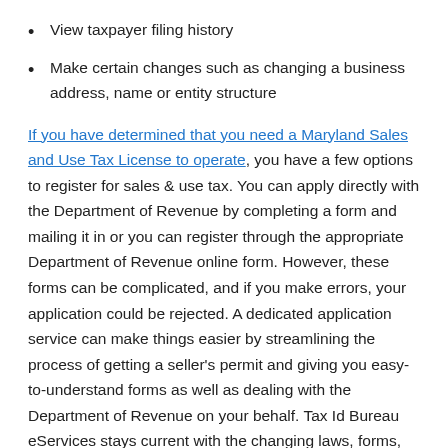View taxpayer filing history
Make certain changes such as changing a business address, name or entity structure
If you have determined that you need a Maryland Sales and Use Tax License to operate, you have a few options to register for sales & use tax. You can apply directly with the Department of Revenue by completing a form and mailing it in or you can register through the appropriate Department of Revenue online form. However, these forms can be complicated, and if you make errors, your application could be rejected. A dedicated application service can make things easier by streamlining the process of getting a seller's permit and giving you easy-to-understand forms as well as dealing with the Department of Revenue on your behalf. Tax Id Bureau eServices stays current with the changing laws, forms, and documents in order to ensure a smooth, quick